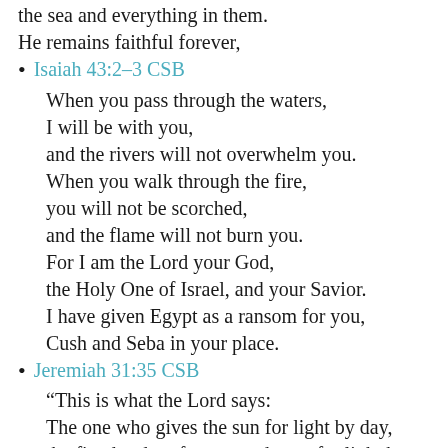the sea and everything in them.
He remains faithful forever,
Isaiah 43:2–3 CSB
When you pass through the waters,
I will be with you,
and the rivers will not overwhelm you.
When you walk through the fire,
you will not be scorched,
and the flame will not burn you.
For I am the Lord your God,
the Holy One of Israel, and your Savior.
I have given Egypt as a ransom for you,
Cush and Seba in your place.
Jeremiah 31:35 CSB
“This is what the Lord says:
The one who gives the sun for light by day,
the fixed order of moon and stars for light by night,
who stirs up the sea and makes its waves roar—